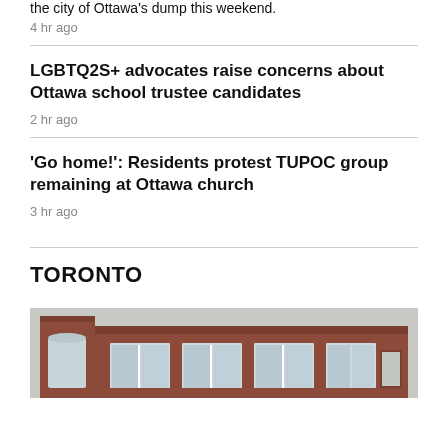the city of Ottawa's dump this weekend.
4 hr ago
LGBTQ2S+ advocates raise concerns about Ottawa school trustee candidates
2 hr ago
'Go home!': Residents protest TUPOC group remaining at Ottawa church
3 hr ago
TORONTO
[Figure (photo): Exterior photo of a brick building with white-framed windows, appears to be a church or community building in Toronto]